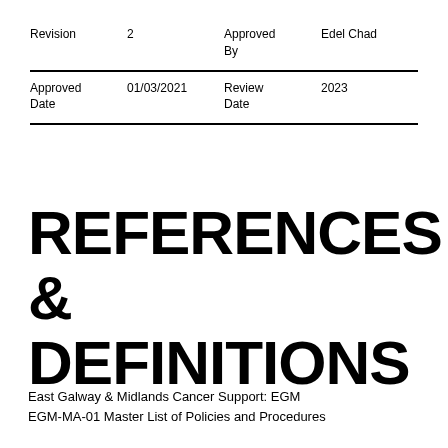| Revision | 2 | Approved By | Edel Chad |
| Approved Date | 01/03/2021 | Review Date | 2023 |
REFERENCES & DEFINITIONS
East Galway & Midlands Cancer Support: EGM EGM-MA-01 Master List of Policies and Procedures